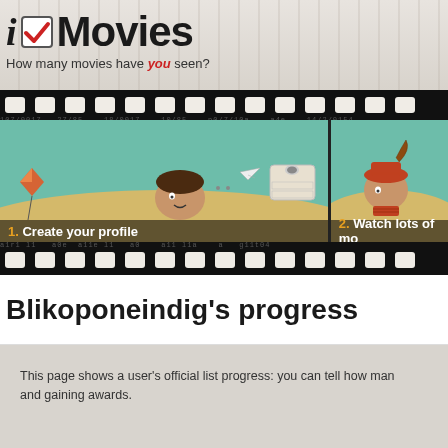i Movies
How many movies have you seen?
[Figure (illustration): Film strip banner with two frames: Frame 1 shows cartoon character creating a profile with a computer, labeled '1. Create your profile'. Frame 2 shows a pirate cartoon character, labeled '2. Watch lots of mo[vies]'. Film strip holes visible at top and bottom.]
Blikoponeindig's progress
This page shows a user's official list progress: you can tell how man[y movies they have seen] and gaining awards.